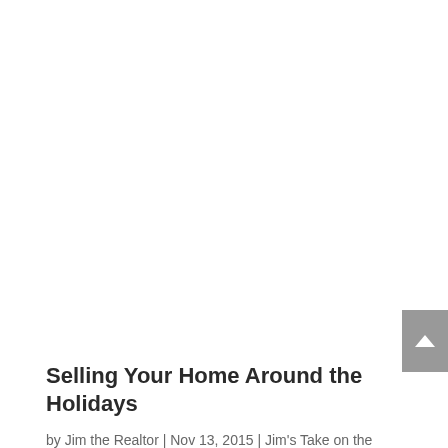[Figure (other): Scroll-to-top button with upward chevron arrow, gray background, positioned at right edge of page]
Selling Your Home Around the Holidays
by Jim the Realtor | Nov 13, 2015 | Jim's Take on the